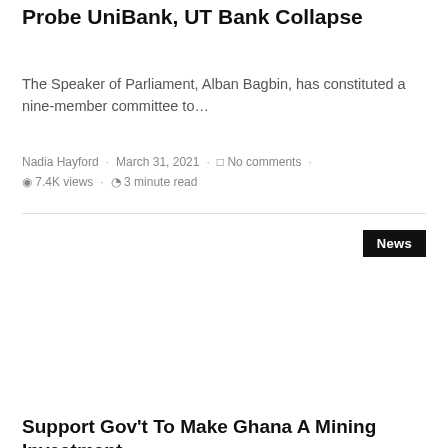Probe UniBank, UT Bank Collapse
The Speaker of Parliament, Alban Bagbin, has constituted a nine-member committee to…
Nadia Hayford · March 31, 2021 · No comments · 7.4K views · 3 minute read
[Figure (other): News category tag label: News]
Support Gov't To Make Ghana A Mining Investment